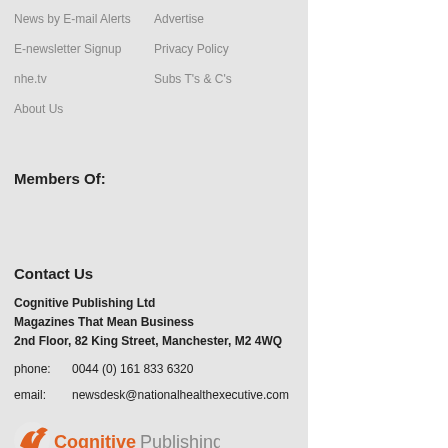News by E-mail Alerts
Advertise
E-newsletter Signup
Privacy Policy
nhe.tv
Subs T's & C's
About Us
Members Of:
Contact Us
Cognitive Publishing Ltd
Magazines That Mean Business
2nd Floor, 82 King Street, Manchester, M2 4WQ
phone:   0044 (0) 161 833 6320
email:   newsdesk@nationalhealthexecutive.com
[Figure (logo): Cognitive Publishing logo with orange bird icon and grey/orange text]